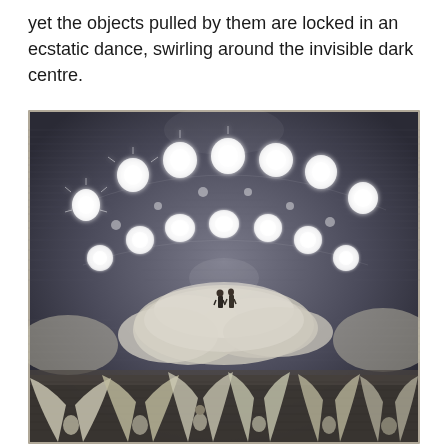yet the objects pulled by them are locked in an ecstatic dance, swirling around the invisible dark centre.
[Figure (illustration): A Gustave Doré-style engraving depicting two figures standing on clouds, surrounded by two large circular rings of luminous angelic beings or spirits arranged in arcs above them. Below, a row of angels with large wings kneel or bow in adoration. The scene is dramatically lit with dark atmospheric background rendered in fine cross-hatching lines.]